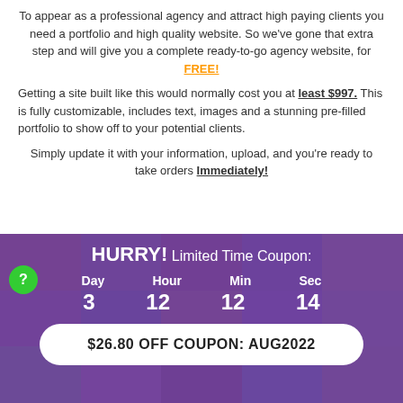To appear as a professional agency and attract high paying clients you need a portfolio and high quality website. So we've gone that extra step and will give you a complete ready-to-go agency website, for FREE!
Getting a site built like this would normally cost you at least $997. This is fully customizable, includes text, images and a stunning pre-filled portfolio to show off to your potential clients.
Simply update it with your information, upload, and you're ready to take orders Immediately!
HURRY! Limited Time Coupon:
Day 3  Hour 12  Min 12  Sec 14
$26.80 OFF COUPON: AUG2022